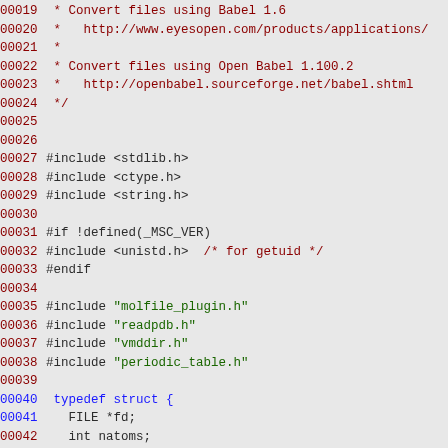Source code listing lines 00019-00048, C source file with includes and typedef struct for pdbdata